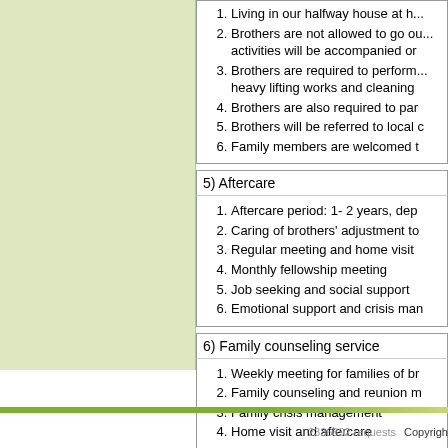1. Living in our halfway house at h...
2. Brothers are not allowed to go ou... activities will be accompanied or
3. Brothers are required to perform... heavy lifting works and cleaning
4. Brothers are also required to par
5. Brothers will be referred to local c
6. Family members are welcomed t
5) Aftercare
1. Aftercare period: 1- 2 years, dep
2. Caring of brothers' adjustment to
3. Regular meeting and home visit
4. Monthly fellowship meeting
5. Job seeking and social support
6. Emotional support and crisis man
6) Family counseling service
1. Weekly meeting for families of br
2. Family counseling and reunion m
3. Family crisis management
4. Home visit and aftercare
2336392 requests   Copyright